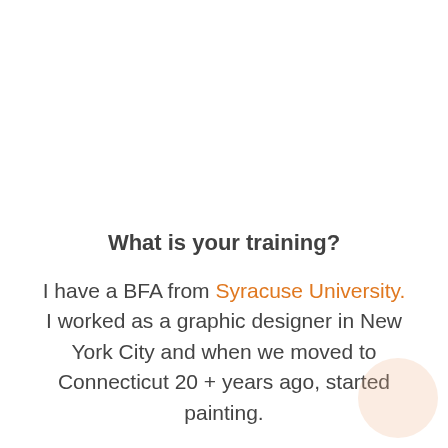What is your training?
I have a BFA from Syracuse University.  I worked as a graphic designer in New York City and when we moved to Connecticut 20 + years ago, started painting.